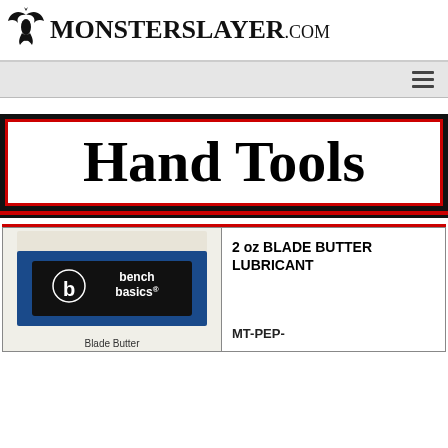MONSTERSLAYER.COM
[Figure (logo): MonsterSlayer.com logo with stylized winged creature icon and bold text]
Hand Tools
2 oz BLADE BUTTER LUBRICANT
[Figure (photo): Photo of Bench Basics Blade Butter lubricant product container, blue and black with bench basics logo]
Blade Butter
MT-PEP-